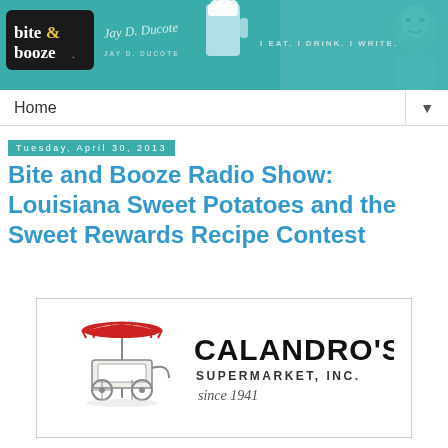[Figure (logo): Bite and Booze blog header banner with teal background, logo box with bite&booze text, signature of Jay D. Ducote, beer mug illustration, tagline 'I EAT. I DRINK. I WRITE.' and portrait illustration of a man]
Home
Tuesday, April 30, 2013
Bite and Booze Radio Show: Louisiana Sweet Potatoes and the Sweet Rewards Recipe Contest
[Figure (logo): Calandro's Supermarket, Inc. logo with a vintage food cart/tent illustration in red and white, company name in large bold text, subtitle SUPERMARKET, INC., and tagline 'since 1941']